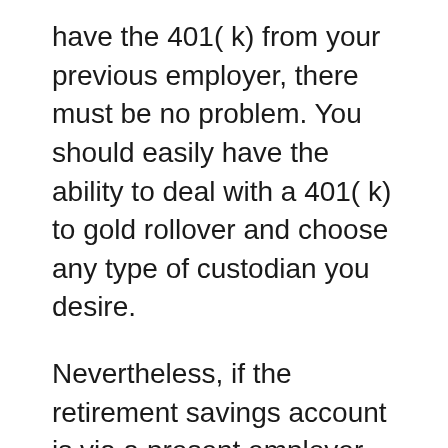have the 401( k) from your previous employer, there must be no problem. You should easily have the ability to deal with a 401( k) to gold rollover and choose any type of custodian you desire.
Nevertheless, if the retirement savings account is via a present employer, you should talk to your shop supervisor or go better up the chain of command. Some companies don't enable investments in gold as part of the 401( k) unless you initially quit your task.
Prior to you concentrate on your pension and also make use of precious-metal options, it's best to comprehend what your company provides in its 401( k). While there could be